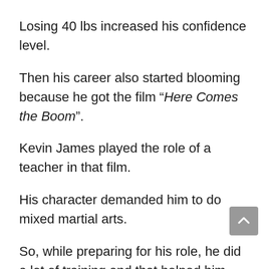Losing 40 lbs increased his confidence level.
Then his career also started blooming because he got the film “Here Comes the Boom”.
Kevin James played the role of a teacher in that film.
His character demanded him to do mixed martial arts.
So, while preparing for his role, he did a lot of training and that helped him lose another 80 lbs of weight.
However, once again his weight loss did not last long.